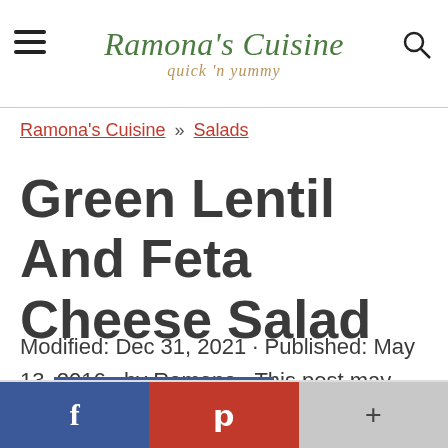Ramona's Cuisine — quick 'n yummy
Ramona's Cuisine » Salads
Green Lentil And Feta Cheese Salad
Modified: Dec 31, 2021 · Published: May 13, 2016 · by Ramona · This post may contain affiliate links
[Figure (other): Social sharing bar with Facebook, Pinterest, and More (+) buttons]